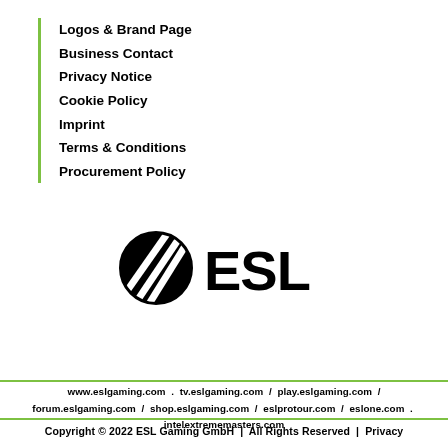Logos & Brand Page
Business Contact
Privacy Notice
Cookie Policy
Imprint
Terms & Conditions
Procurement Policy
[Figure (logo): ESL Gaming logo — circle with diagonal stripes and ESL text in bold]
www.eslgaming.com . tv.eslgaming.com / play.eslgaming.com / forum.eslgaming.com / shop.eslgaming.com / eslprotour.com / eslone.com . intelextrememasters.com
Copyright © 2022 ESL Gaming GmbH | All Rights Reserved | Privacy